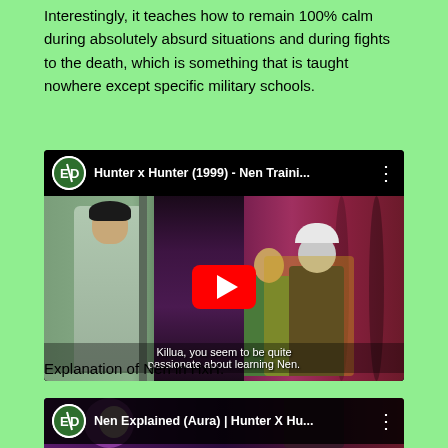Interestingly, it teaches how to remain 100% calm during absolutely absurd situations and during fights to the death, which is something that is taught nowhere except specific military schools.
[Figure (screenshot): YouTube video embed showing Hunter x Hunter (1999) - Nen Traini... with anime characters including a tall figure in grey, Gon, and Killua. Subtitle reads: Killua, you seem to be quite passionate about learning Nen.]
Explanation of Nen in HxH.
[Figure (screenshot): YouTube video embed showing Nen Explained (Aura) | Hunter X Hu... with anime characters including a purple-haired character and dark figures.]